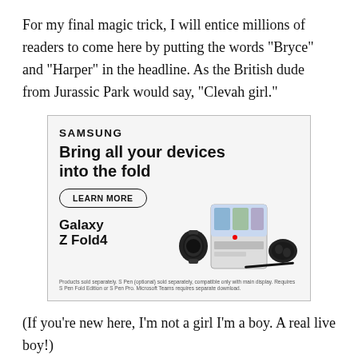For my final magic trick, I will entice millions of readers to come here by putting the words "Bryce" and "Harper" in the headline. As the British dude from Jurassic Park would say, "Clevah girl."
[Figure (illustration): Samsung advertisement for Galaxy Z Fold4. Contains Samsung brand name, headline 'Bring all your devices into the fold', a 'LEARN MORE' button, product images of a smartwatch, a foldable phone with a video call on screen, and earbuds, plus the product name 'Galaxy Z Fold4' and a disclaimer about products sold separately.]
(If you're new here, I'm not a girl I'm a boy. A real live boy!)